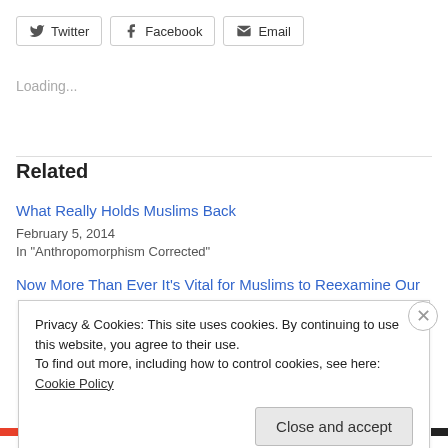[Figure (other): Social share buttons: Twitter, Facebook, Email]
Loading...
Related
What Really Holds Muslims Back
February 5, 2014
In "Anthropomorphism Corrected"
Now More Than Ever It’s Vital for Muslims to Reexamine Our
Privacy & Cookies: This site uses cookies. By continuing to use this website, you agree to their use.
To find out more, including how to control cookies, see here: Cookie Policy